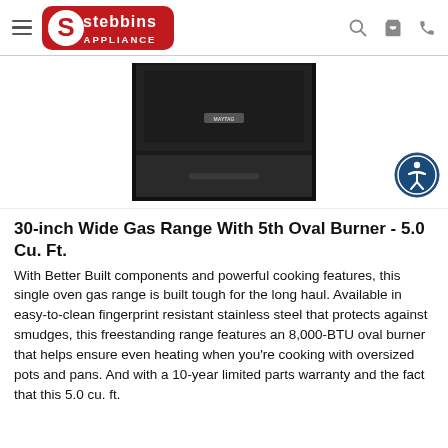Stebbins Appliance
[Figure (photo): Black Maytag 30-inch wide gas range, top-down view showing burners and oven drawer, photographed against a white background.]
30-inch Wide Gas Range With 5th Oval Burner - 5.0 Cu. Ft.
With Better Built components and powerful cooking features, this single oven gas range is built tough for the long haul. Available in easy-to-clean fingerprint resistant stainless steel that protects against smudges, this freestanding range features an 8,000-BTU oval burner that helps ensure even heating when you're cooking with oversized pots and pans. And with a 10-year limited parts warranty and the fact that this 5.0 cu. ft.